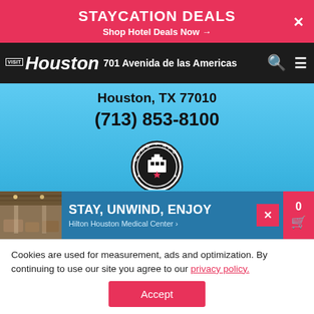STAYCATION DEALS
Shop Hotel Deals Now →
PARTNERSHIP TOWER 701 Avenida de las Americas
Houston, TX 77010
(713) 853-8100
[Figure (logo): ECHO AFC circular logo/badge with a building/tower icon and star]
[Figure (photo): Interior photo of hotel lobby/restaurant area with seating]
STAY, UNWIND, ENJOY
Hilton Houston Medical Center ›
Cookies are used for measurement, ads and optimization. By continuing to use our site you agree to our privacy policy.
Accept